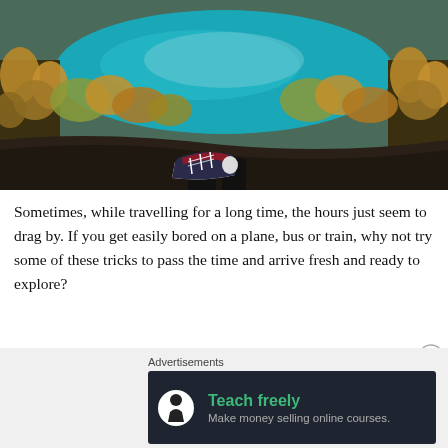[Figure (photo): Aerial-perspective photo of a person's red-and-black sneaker/shoe extended toward camera in foreground, overlooking a vivid turquoise mountain lake surrounded by golden and green autumn trees, viewed from a high rocky overlook.]
Sometimes, while travelling for a long time, the hours just seem to drag by. If you get easily bored on a plane, bus or train, why not try some of these tricks to pass the time and arrive fresh and ready to explore?
Advertisements
[Figure (other): Advertisement banner with dark background showing a tree/person icon on the left and text 'Teach freely' in green with subtitle 'Make money selling online courses.' in grey.]